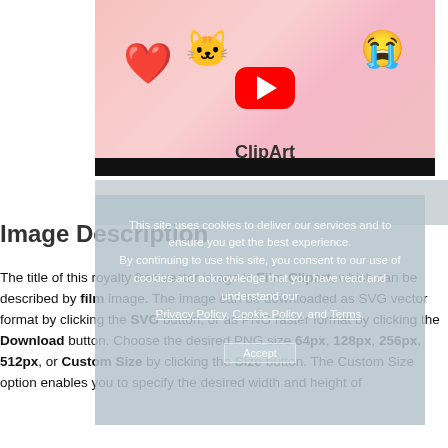[Figure (screenshot): YouTube-style video thumbnail for ClipArt with a pink background, red heart, Hello Kitty, YouTube play button, and crying emoji. Below is a black progress bar.]
[Figure (screenshot): Cookie consent overlay: 'This site uses cookies to deliver our services and to ensure you get the best experience. By continuing to use this site, you consent to our use of cookies and acknowledge that you have read and understand our Privacy Policy, Cookie Policy, and Terms.' with an Accept button.]
Image Description
The title of this royalty free vector image is Film Clipart, which can be described by film image. The image can be downloaded as SVG vector format by clicking the SVG button, or as PNG raster format by clicking the Download button. Choose the desired PNG size 64px, 128px, 256px, 512px, or Custom Size by clicking the Size button. The Custom Size option enables you to specify the desired width and height of